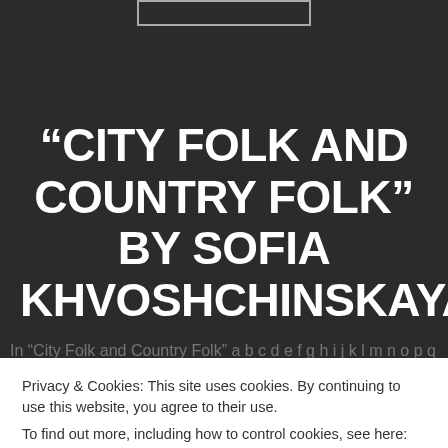[Figure (logo): Rectangular logo/brand box outline at top center of dark background]
“CITY FOLK AND COUNTRY FOLK” BY SOFIA KHVOSHCHINSKAYA
Privacy & Cookies: This site uses cookies. By continuing to use this website, you agree to their use.
To find out more, including how to control cookies, see here: Cookie Policy
Close and accept